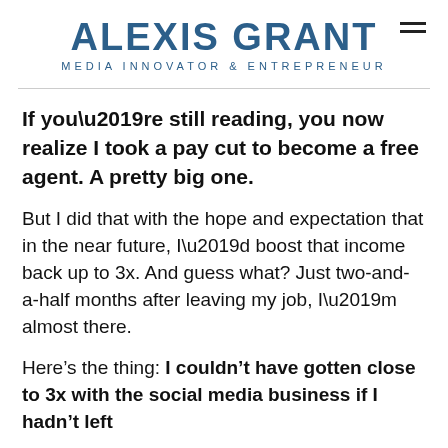ALEXIS GRANT
MEDIA INNOVATOR & ENTREPRENEUR
If you’re still reading, you now realize I took a pay cut to become a free agent. A pretty big one.
But I did that with the hope and expectation that in the near future, I’d boost that income back up to 3x. And guess what? Just two-and-a-half months after leaving my job, I’m almost there.
Here’s the thing: I couldn’t have gotten close to 3x with the social media business if I hadn’t left